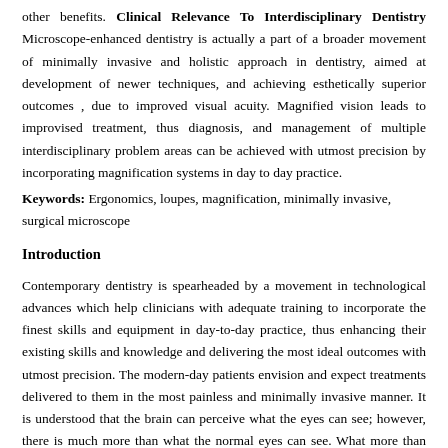other benefits. Clinical Relevance To Interdisciplinary Dentistry Microscope-enhanced dentistry is actually a part of a broader movement of minimally invasive and holistic approach in dentistry, aimed at development of newer techniques, and achieving esthetically superior outcomes , due to improved visual acuity. Magnified vision leads to improvised treatment, thus diagnosis, and management of multiple interdisciplinary problem areas can be achieved with utmost precision by incorporating magnification systems in day to day practice.
Keywords: Ergonomics, loupes, magnification, minimally invasive, surgical microscope
Introduction
Contemporary dentistry is spearheaded by a movement in technological advances which help clinicians with adequate training to incorporate the finest skills and equipment in day-to-day practice, thus enhancing their existing skills and knowledge and delivering the most ideal outcomes with utmost precision. The modern-day patients envision and expect treatments delivered to them in the most painless and minimally invasive manner. It is understood that the brain can perceive what the eyes can see; however, there is much more than what the normal eyes can see. What more than magnified vision using magnification tools